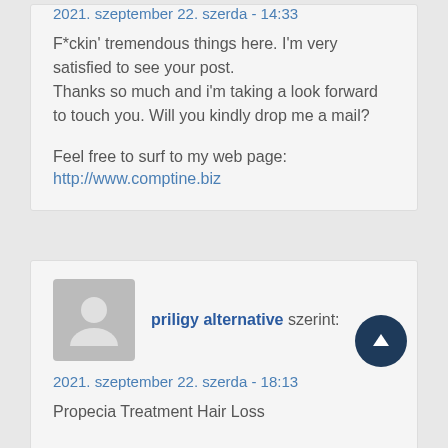2021. szeptember 22. szerda - 14:33
F*ckin' tremendous things here. I'm very satisfied to see your post.
Thanks so much and i'm taking a look forward to touch you. Will you kindly drop me a mail?
Feel free to surf to my web page:
http://www.comptine.biz
priligy alternative szerint:
2021. szeptember 22. szerda - 18:13
Propecia Treatment Hair Loss